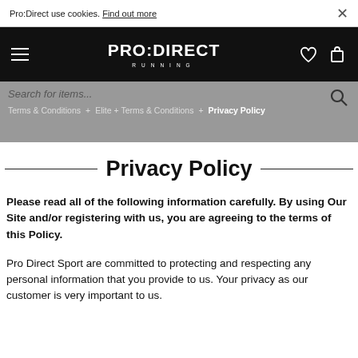Pro:Direct use cookies. Find out more
[Figure (screenshot): Pro:Direct Running navigation bar with hamburger menu, logo, heart and bag icons on black background]
[Figure (screenshot): Search bar with 'Search for items...' placeholder, breadcrumb navigation showing 'Terms & Conditions | Elite + Terms & Conditions | Privacy Policy', and search icon on grey background. Also shows tc-header-bar debug element.]
Privacy Policy
Please read all of the following information carefully. By using Our Site and/or registering with us, you are agreeing to the terms of this Policy.
Pro Direct Sport are committed to protecting and respecting any personal information that you provide to us. Your privacy as our customer is very important to us.